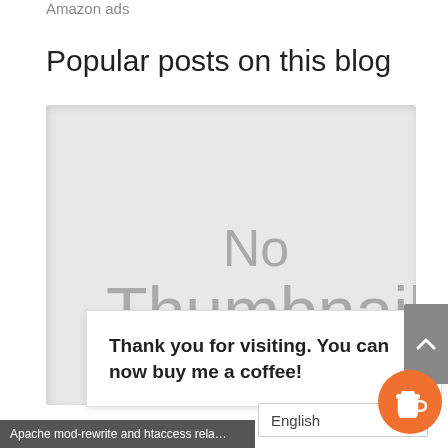Amazon ads
Popular posts on this blog
[Figure (illustration): A large placeholder image box showing 'No Thumbnail' text in gray on a light gray background.]
Thank you for visiting. You can now buy me a coffee!
English